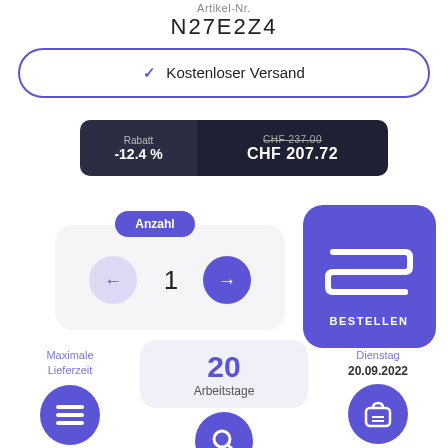Artikel-Nr.
N27E2Z4
✓ Kostenloser Versand
Rabatt -12.4 %
CHF 237.00 CHF 207.72
[Figure (screenshot): Quantity selector showing 1 with left/right arrow buttons and a blue BESTELLEN (order) button with S-logo]
Maximale Lieferzeit
20 Arbeitstage
Dienstag 20.09.2022